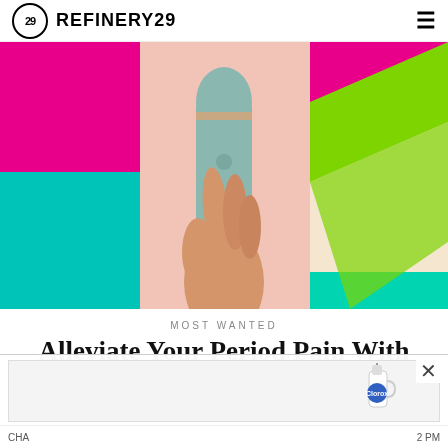REFINERY29
[Figure (photo): A hand holding a mint/sage colored personal massager device against a colorful abstract background with pink, magenta, green, teal and cream shapes]
MOST WANTED
Alleviate Your Period Pain With These Surprisingly Sexy Solutions
[Figure (photo): Advertisement overlay showing a Clorox product with a close button (×)]
CHA ... 2 PM